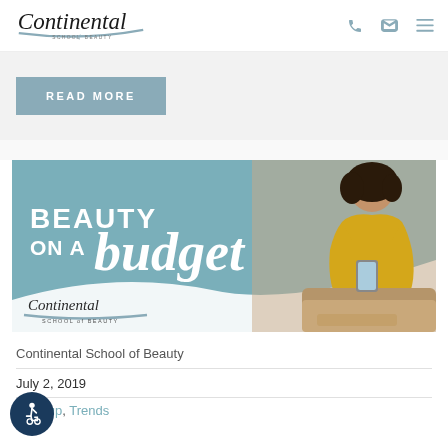Continental School of Beauty
READ MORE
[Figure (illustration): Beauty on a Budget promotional banner with teal background, woman in yellow sweater sitting on couch writing, with Continental School of Beauty logo. Text reads BEAUTY ON A budget in large white brush-script font.]
Continental School of Beauty
July 2, 2019
Makeup, Trends